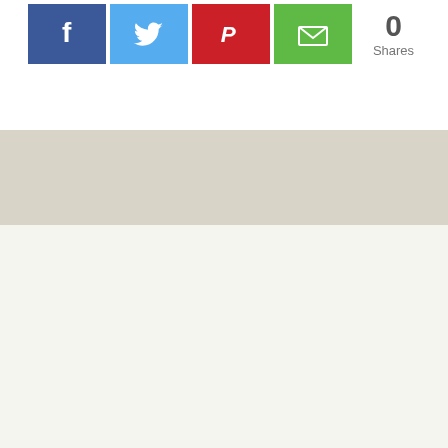[Figure (other): Social share buttons: Facebook (blue), Twitter (light blue), Pinterest (red), Email (green), with share count showing 0 Shares]
[Figure (other): Advertisement banner area with light beige/tan background]
27 Comments
[Figure (photo): Small circular avatar photo of grace calling]
grace calling on March 31, 2013 at 10:27 pm
Oh yes, He sure does know you by name, my